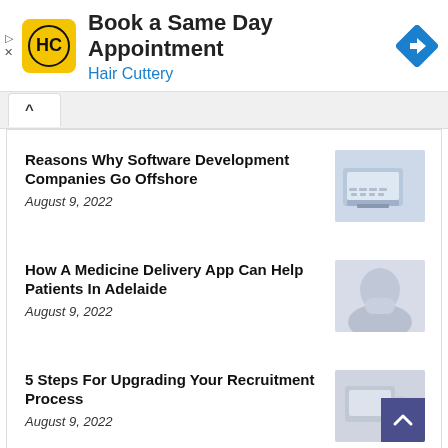[Figure (infographic): Advertisement banner for Hair Cuttery with logo, 'Book a Same Day Appointment' text, and navigation icon]
Reasons Why Software Development Companies Go Offshore
August 9, 2022
[Figure (photo): Photo of hands typing on a laptop keyboard, light blue tones]
How A Medicine Delivery App Can Help Patients In Adelaide
August 9, 2022
[Figure (photo): Photo of a person, light tones, medicine delivery context]
5 Steps For Upgrading Your Recruitment Process
August 9, 2022
[Figure (photo): Photo related to recruitment process, light tones]